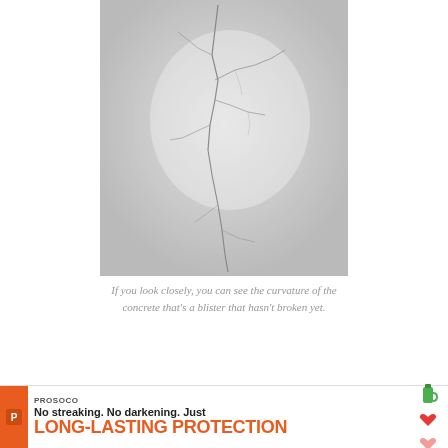[Figure (photo): Close-up photograph of cracked concrete surface showing spider-web cracks with a slight curvature/blister visible]
If you look closely, you can see the curvature of the concrete that's a blister that hasn't broken yet.
Air-related issues
[Figure (other): PROSOCO advertisement banner: No streaking. No darkening. Just LONG-LASTING PROTECTION]